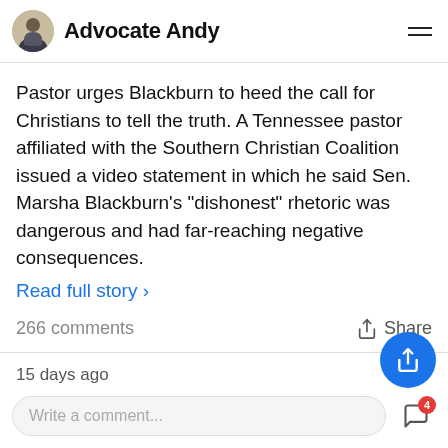Advocate Andy
Pastor urges Blackburn to heed the call for Christians to tell the truth. A Tennessee pastor affiliated with the Southern Christian Coalition issued a video statement in which he said Sen. Marsha Blackburn's "dishonest" rhetoric was dangerous and had far-reaching negative consequences.
Read full story ›
266 comments
Share
15 days ago
Department of Education Announc…